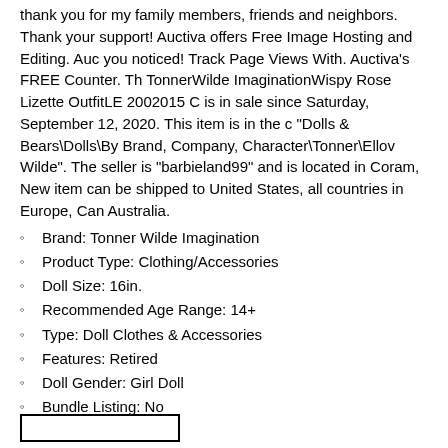thank you for my family members, friends and neighbors. Thank your support! Auctiva offers Free Image Hosting and Editing. Auctiva you noticed! Track Page Views With. Auctiva's FREE Counter. The TonnerWilde ImaginationWispy Rose Lizette OutfitLE 2002015 Co is in sale since Saturday, September 12, 2020. This item is in the ca "Dolls & Bears\Dolls\By Brand, Company, Character\Tonner\Ellov Wilde". The seller is "barbieland99" and is located in Coram, New item can be shipped to United States, all countries in Europe, Cana Australia.
Brand: Tonner Wilde Imagination
Product Type: Clothing/Accessories
Doll Size: 16in.
Recommended Age Range: 14+
Type: Doll Clothes & Accessories
Features: Retired
Doll Gender: Girl Doll
Bundle Listing: No